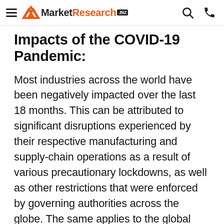MarketResearch.biz
Impacts of the COVID-19 Pandemic:
Most industries across the world have been negatively impacted over the last 18 months. This can be attributed to significant disruptions experienced by their respective manufacturing and supply-chain operations as a result of various precautionary lockdowns, as well as other restrictions that were enforced by governing authorities across the globe. The same applies to the global Industrial Pipe Insulation market. Moreover, consumer demand